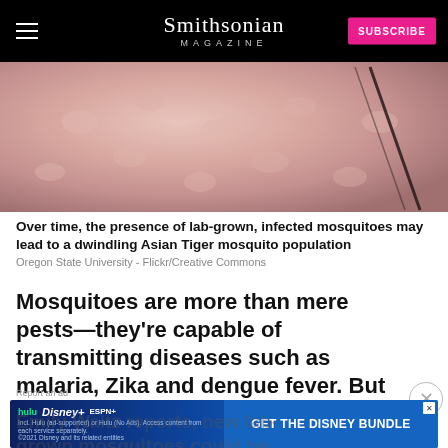Smithsonian Magazine | SUBSCRIBE
[Figure (photo): Close-up macro photo of human skin texture, pinkish tones, with a dark diagonal line (mosquito leg or proboscis) crossing the upper right portion.]
Over time, the presence of lab-grown, infected mosquitoes may lead to a dwindling Asian Tiger mosquito population
Oregon State University - Flickr/Creative Commons
Mosquitoes are more than mere pests—they're capable of transmitting diseases such as malaria, Zika and dengue fever. But as Nature's
Emily Waltz reports, new lab-grown mosquitoes could be decreasing populations of the annoying—and potentially